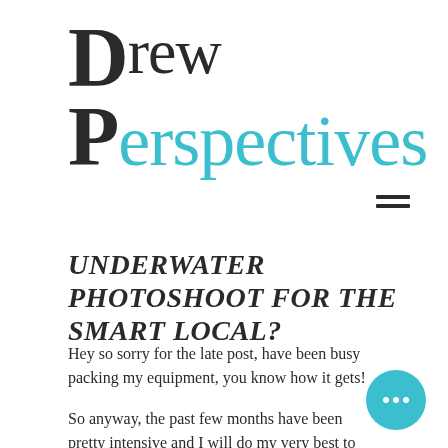Drew Perspectives
UNDERWATER PHOTOSHOOT FOR THE SMART LOCAL?
Hey so sorry for the late post, have been busy packing my equipment, you know how it gets!
So anyway, the past few months have been pretty intensive and I will do my very best to update this blog a little more often. Let me